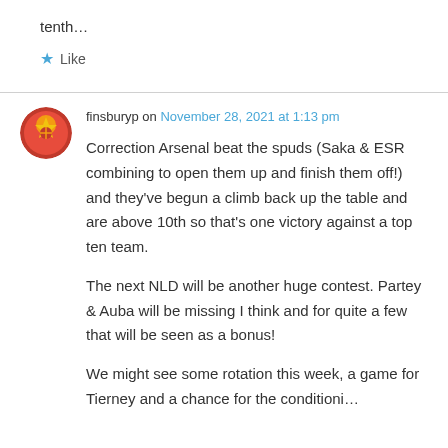tenth…
★ Like
finsburyp on November 28, 2021 at 1:13 pm
Correction Arsenal beat the spuds (Saka & ESR combining to open them up and finish them off!) and they've begun a climb back up the table and are above 10th so that's one victory against a top ten team.
The next NLD will be another huge contest. Partey & Auba will be missing I think and for quite a few that will be seen as a bonus!
We might see some rotation this week, a game for Tierney and a chance for the condition…